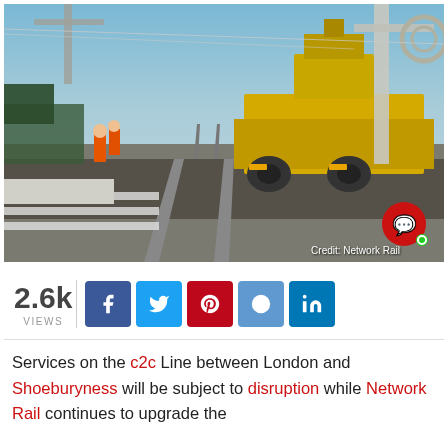[Figure (photo): A railway maintenance/engineering train with yellow machinery on tracks, workers in hi-vis orange jackets visible on the left, overhead electrification gantries, photographed at dusk/dawn. Credit: Network Rail]
2.6k VIEWS
Services on the c2c Line between London and Shoeburyness will be subject to disruption while Network Rail continues to upgrade the